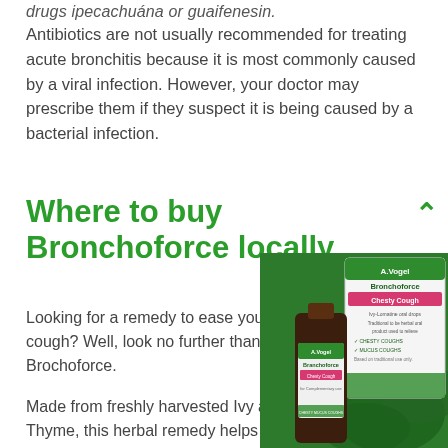drugs ipecachuána or guaifenesin.
Antibiotics are not usually recommended for treating acute bronchitis because it is most commonly caused by a viral infection. However, your doctor may prescribe them if they suspect it is being caused by a bacterial infection.
Where to buy Bronchoforce locally
Looking for a remedy to ease your chesty cough? Well, look no further than Brochoforce.
Made from freshly harvested Ivy and Thyme, this herbal remedy helps to expel mucus or catarrh from the chest
[Figure (photo): A.Vogel Bronchoforce Chesty Cough oral drops product bottle and box, showing ivy leaves on the packaging.]